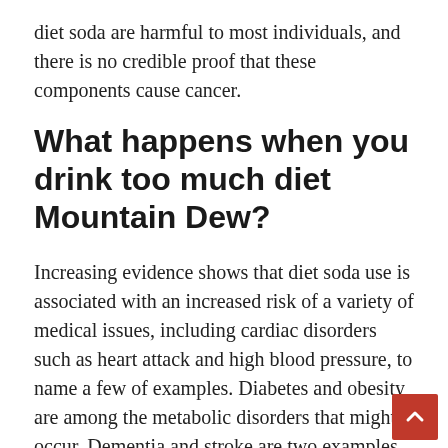diet soda are harmful to most individuals, and there is no credible proof that these components cause cancer.
What happens when you drink too much diet Mountain Dew?
Increasing evidence shows that diet soda use is associated with an increased risk of a variety of medical issues, including cardiac disorders such as heart attack and high blood pressure, to name a few of examples. Diabetes and obesity are among the metabolic disorders that might occur. Dementia and stroke are two examples of